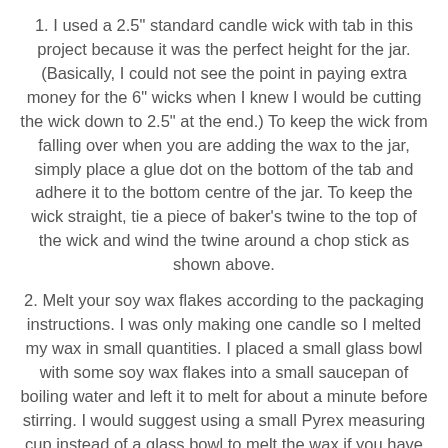1. I used a 2.5" standard candle wick with tab in this project because it was the perfect height for the jar. (Basically, I could not see the point in paying extra money for the 6" wicks when I knew I would be cutting the wick down to 2.5" at the end.) To keep the wick from falling over when you are adding the wax to the jar, simply place a glue dot on the bottom of the tab and adhere it to the bottom centre of the jar. To keep the wick straight, tie a piece of baker's twine to the top of the wick and wind the twine around a chop stick as shown above.
2. Melt your soy wax flakes according to the packaging instructions. I was only making one candle so I melted my wax in small quantities. I placed a small glass bowl with some soy wax flakes into a small saucepan of boiling water and left it to melt for about a minute before stirring. I would suggest using a small Pyrex measuring cup instead of a glass bowl to melt the wax if you have one - it's easier to pour the melted wax into the jar.
3. I poured the melted wax in layers into the mason jar so